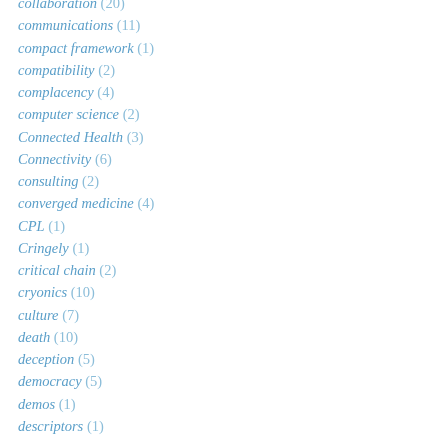collaboration (20)
communications (11)
compact framework (1)
compatibility (2)
complacency (4)
computer science (2)
Connected Health (3)
Connectivity (6)
consulting (2)
converged medicine (4)
CPL (1)
Cringely (1)
critical chain (2)
cryonics (10)
culture (7)
death (10)
deception (5)
democracy (5)
demos (1)
descriptors (1)